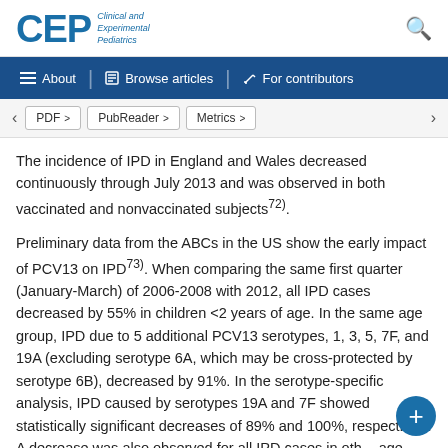CEP Clinical and Experimental Pediatrics
The incidence of IPD in England and Wales decreased continuously through July 2013 and was observed in both vaccinated and nonvaccinated subjects72).
Preliminary data from the ABCs in the US show the early impact of PCV13 on IPD73). When comparing the same first quarter (January-March) of 2006-2008 with 2012, all IPD cases decreased by 55% in children <2 years of age. In the same age group, IPD due to 5 additional PCV13 serotypes, 1, 3, 5, 7F, and 19A (excluding serotype 6A, which may be cross-protected by serotype 6B), decreased by 91%. In the serotype-specific analysis, IPD caused by serotypes 19A and 7F showed statistically significant decreases of 89% and 100%, respectively. A decrease was also observed for all IPD cases in other age groups such as children aged 2-4 years, adults, and the elderly